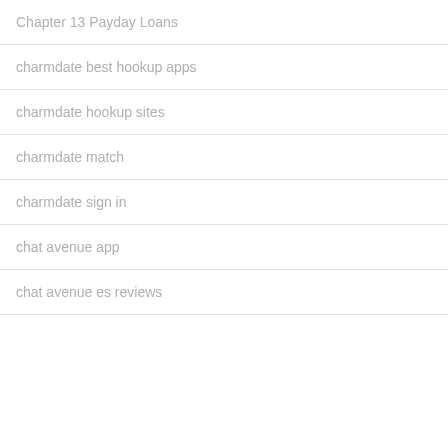Chapter 13 Payday Loans
charmdate best hookup apps
charmdate hookup sites
charmdate match
charmdate sign in
chat avenue app
chat avenue es reviews